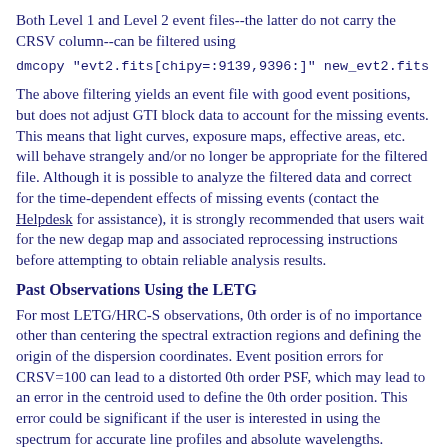Both Level 1 and Level 2 event files--the latter do not carry the CRSV column--can be filtered using
dmcopy "evt2.fits[chipy=:9139,9396:]" new_evt2.fits
The above filtering yields an event file with good event positions, but does not adjust GTI block data to account for the missing events. This means that light curves, exposure maps, effective areas, etc. will behave strangely and/or no longer be appropriate for the filtered file. Although it is possible to analyze the filtered data and correct for the time-dependent effects of missing events (contact the Helpdesk for assistance), it is strongly recommended that users wait for the new degap map and associated reprocessing instructions before attempting to obtain reliable analysis results.
Past Observations Using the LETG
For most LETG/HRC-S observations, 0th order is of no importance other than centering the spectral extraction regions and defining the origin of the dispersion coordinates. Event position errors for CRSV=100 can lead to a distorted 0th order PSF, which may lead to an error in the centroid used to define the 0th order position. This error could be significant if the user is interested in using the spectrum for accurate line profiles and absolute wavelengths.